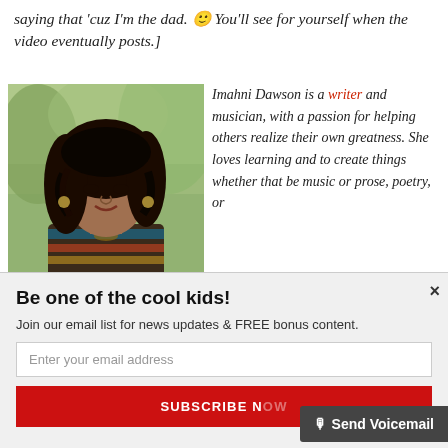saying that 'cuz I'm the dad. 🙂 You'll see for yourself when the video eventually posts.]
[Figure (photo): Portrait photo of a young woman with curly dark hair wearing a patterned top, outdoors with green trees in background]
Imahni Dawson is a writer and musician, with a passion for helping others realize their own greatness. She loves learning and to create things whether that be music or prose, poetry, or
Be one of the cool kids!
Join our email list for news updates & FREE bonus content.
Enter your email address
SUBSCRIBE N...
Send Voicemail